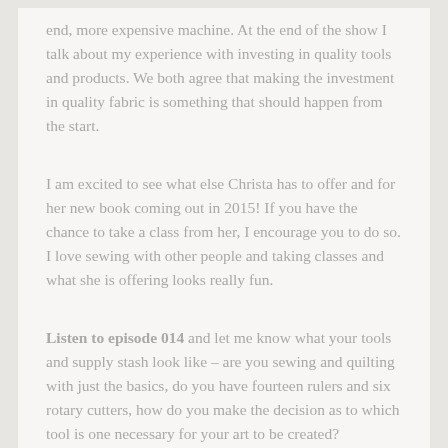end, more expensive machine. At the end of the show I talk about my experience with investing in quality tools and products. We both agree that making the investment in quality fabric is something that should happen from the start.
I am excited to see what else Christa has to offer and for her new book coming out in 2015! If you have the chance to take a class from her, I encourage you to do so. I love sewing with other people and taking classes and what she is offering looks really fun.
Listen to episode 014 and let me know what your tools and supply stash look like – are you sewing and quilting with just the basics, do you have fourteen rulers and six rotary cutters, how do you make the decision as to which tool is one necessary for your art to be created?
Leave me a comment and let me know how you